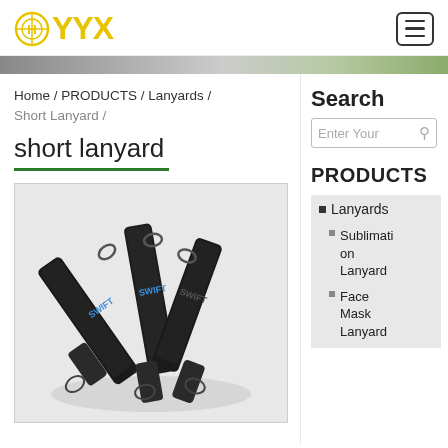YYX
Home / PRODUCTS / Lanyards / Short Lanyard /
short lanyard
[Figure (photo): Photo of multiple short lanyards with metal clips and 'SWIFT' branding, black straps with blue text, fanned out on a white background]
Search
Enter Your
PRODUCTS
Lanyards
Sublimation Lanyard
Face Mask Lanyard